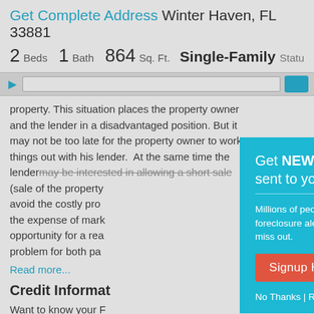Get Complete Address Winter Haven, FL 33881
2 Beds  1 Bath  864 Sq. Ft.  Single-Family  Status
property. This situation places the property owner and the lender in a disadvantaged position. But it may not be too late for the property owner to work things out with his lender. At the same time the lender may be interested in allowing a short sale (sale of the property avoid the costly pro the expense of mark opportunity for a rea problem for both pa
Read more...
Credit Informat
Want to know your F score?:
Click here
Are you the victim of identity theft?:
Find out
[Figure (infographic): Modal popup overlay: teal/cyan background box with title 'Get NEW Foreclosure Listings sent to your inbox', descriptive text 'Millions of people receive foreclosure alerts daily, don't miss out.', a red 'Signup Here' button, a white mail envelope icon, and 'No Thanks | Remind Me Later' link text.]